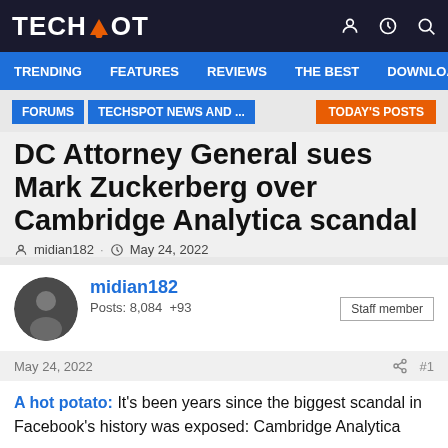TECHSPOT
TRENDING   FEATURES   REVIEWS   THE BEST   DOWNLOA
FORUMS   TECHSPOT NEWS AND ...   TODAY'S POSTS
DC Attorney General sues Mark Zuckerberg over Cambridge Analytica scandal
midian182 · May 24, 2022
midian182
Posts: 8,084  +93
Staff member
May 24, 2022   #1
A hot potato: It's been years since the biggest scandal in Facebook's history was exposed: Cambridge Analytica